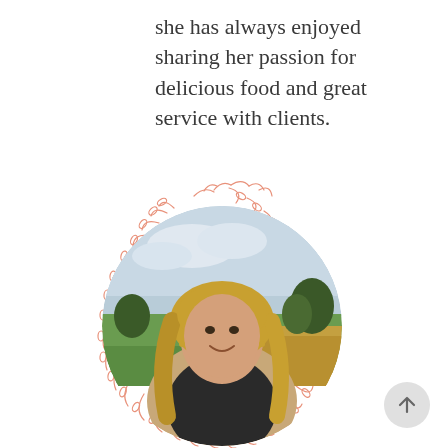she has always enjoyed sharing her passion for delicious food and great service with clients.
[Figure (photo): A smiling blonde woman in a beige cardigan and dark branded shirt standing in an outdoor field with green and golden grass and trees in the background, framed within a circular crop surrounded by a decorative salmon/coral colored botanical wreath illustration.]